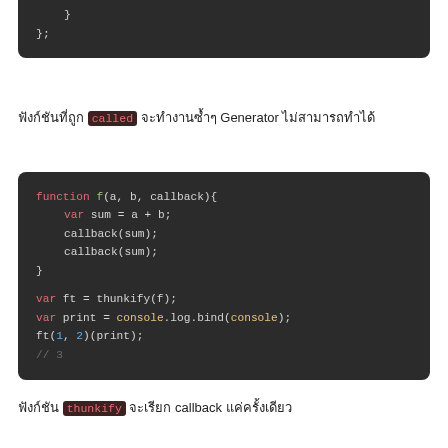[Figure (screenshot): Code block (top, cropped) showing closing braces: } and };]
ฟังก์ชันที่ถูก called จะทำงานซ้ำๆ Generator ไม่สามารถทำได้
[Figure (screenshot): Code block showing function f(a, b, callback){ var sum = a + b; callback(sum); callback(sum); } var ft = thunkify(f); var print = console.log.bind(console); ft(1, 2)(print); // 3]
ฟังก์ชัน thunkify จะเรียก callback แค่ครั้งเดียว